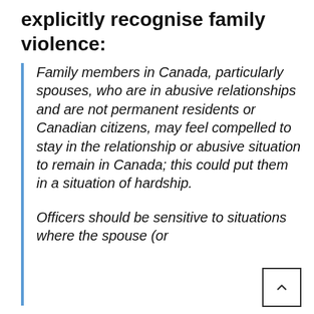explicitly recognise family violence:
Family members in Canada, particularly spouses, who are in abusive relationships and are not permanent residents or Canadian citizens, may feel compelled to stay in the relationship or abusive situation to remain in Canada; this could put them in a situation of hardship.
Officers should be sensitive to situations where the spouse (or